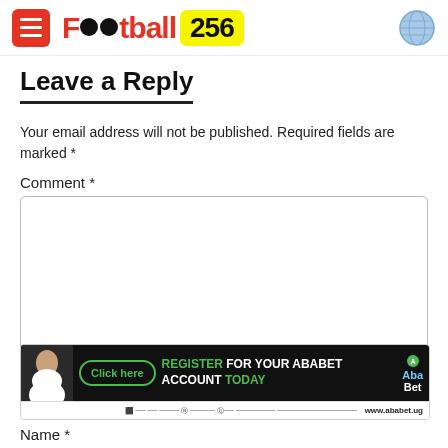Football 256
Leave a Reply
Your email address will not be published. Required fields are marked *
Comment *
[Figure (infographic): AbaBet advertisement banner: Click here button, REGISTER FOR YOUR ABABET ACCOUNT TODAY text, AbaBet logo, www.ababet.ug]
Name *